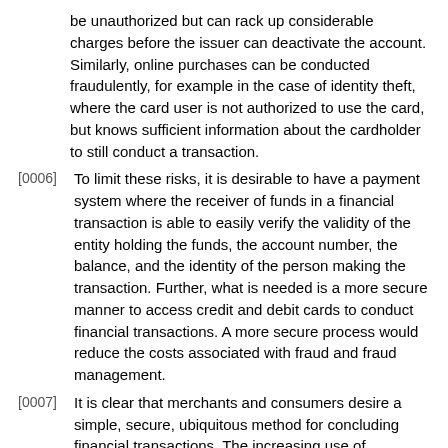be unauthorized but can rack up considerable charges before the issuer can deactivate the account. Similarly, online purchases can be conducted fraudulently, for example in the case of identity theft, where the card user is not authorized to use the card, but knows sufficient information about the cardholder to still conduct a transaction.
[0006] To limit these risks, it is desirable to have a payment system where the receiver of funds in a financial transaction is able to easily verify the validity of the entity holding the funds, the account number, the balance, and the identity of the person making the transaction. Further, what is needed is a more secure manner to access credit and debit cards to conduct financial transactions. A more secure process would reduce the costs associated with fraud and fraud management.
[0007] It is clear that merchants and consumers desire a simple, secure, ubiquitous method for concluding financial transactions. The increasing use of